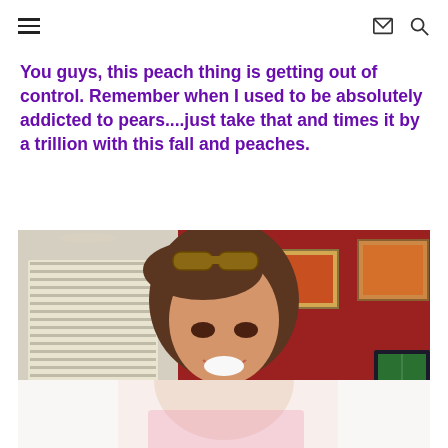Navigation header with hamburger menu, mail icon, and search icon
You guys, this peach thing is getting out of control. Remember when I used to be absolutely addicted to pears....just take that and times it by a trillion with this fall and peaches.
[Figure (photo): A smiling young woman with brown hair and sunglasses on her head, wearing a pink top, in a room with red walls and artwork in the background. A TV showing a football game is visible.]
[Figure (photo): Partial/cropped continuation of the same photo below, showing the woman's lower face and pink clothing, faded/washed out.]